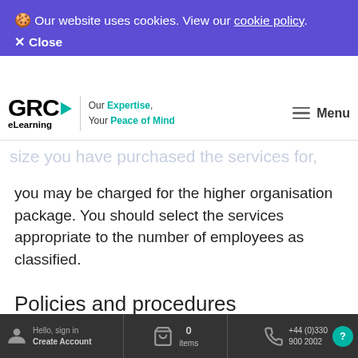🍪 Our website uses cookies. View our cookie policy.
✕ Close
[Figure (logo): GRC eLearning logo with tagline: Our Expertise, Your Peace of Mind]
purchased is more than the number of employees for the organisation size you have purchased the services for,
you may be charged for the higher organisation package. You should select the services appropriate to the number of employees as classified.
Policies and procedures
Template document policies and procedures are provided that can be
Hello, sign in Create Account   0 items   +44 (0)330 900 2002